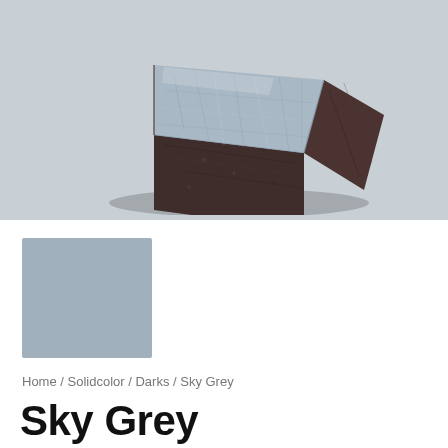[Figure (photo): A glazed ceramic or concrete brick/paver with a pale blue-grey crackled glaze on top and rough dark brown/reddish-brown stone or concrete sides, photographed on a light grey background.]
[Figure (other): A solid blue-grey color swatch square representing the Sky Grey color.]
Home / Solidcolor / Darks / Sky Grey
Sky Grey